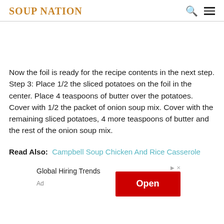SOUP NATION
Now the foil is ready for the recipe contents in the next step. Step 3: Place 1/2 the sliced potatoes on the foil in the center. Place 4 teaspoons of butter over the potatoes. Cover with 1/2 the packet of onion soup mix. Cover with the remaining sliced potatoes, 4 more teaspoons of butter and the rest of the onion soup mix.
Read Also: Campbell Soup Chicken And Rice Casserole
[Figure (other): Advertisement banner with text 'Global Hiring Trends', 'Ad' label, and a red 'Open' button with AdChoices icon and close icon]